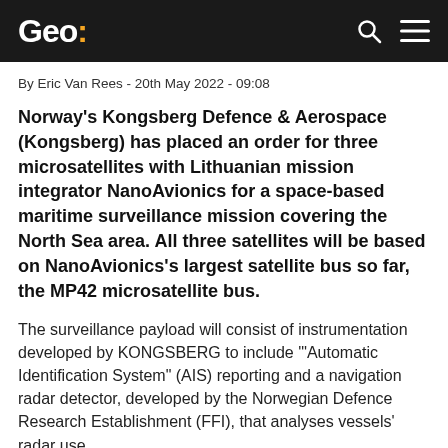Geo:
By Eric Van Rees - 20th May 2022 - 09:08
Norway's Kongsberg Defence & Aerospace (Kongsberg) has placed an order for three microsatellites with Lithuanian mission integrator NanoAvionics for a space-based maritime surveillance mission covering the North Sea area. All three satellites will be based on NanoAvionics's largest satellite bus so far, the MP42 microsatellite bus.
The surveillance payload will consist of instrumentation developed by KONGSBERG to include '"Automatic Identification System" (AIS) reporting and a navigation radar detector, developed by the Norwegian Defence Research Establishment (FFI), that analyses vessels' radar use.